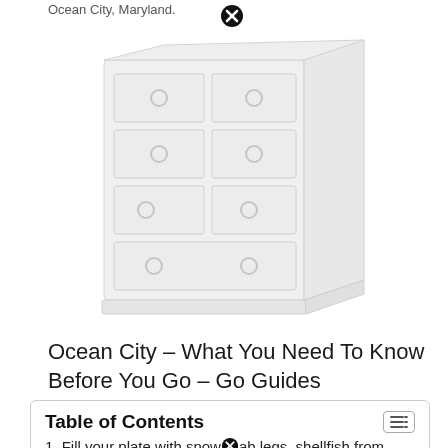Ocean City, Maryland.
[Figure (illustration): A white dresser with multiple drawers and ring pull handles, shown in a faded/light illustration style.]
Ocean City – What You Need To Know Before You Go – Go Guides
Table of Contents
1. Fill your plate with snow crab legs, shellfish from